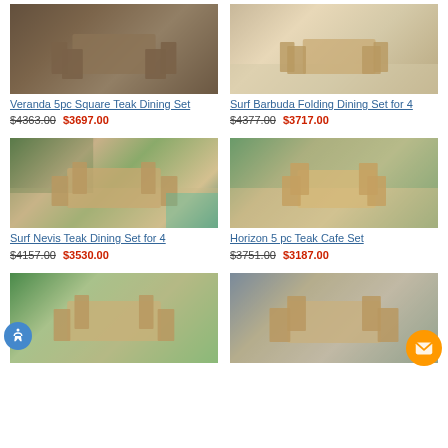[Figure (photo): Veranda 5pc Square Teak Dining Set - outdoor teak furniture on dark patio]
Veranda 5pc Square Teak Dining Set
$4363.00 $3697.00
[Figure (photo): Surf Barbuda Folding Dining Set for 4 - teak furniture on light stone patio]
Surf Barbuda Folding Dining Set for 4
$4377.00 $3717.00
[Figure (photo): Surf Nevis Teak Dining Set for 4 - folding teak table and chairs near pool with garden]
Surf Nevis Teak Dining Set for 4
$4157.00 $3530.00
[Figure (photo): Horizon 5 pc Teak Cafe Set - square teak table with armchairs near waterfront]
Horizon 5 pc Teak Cafe Set
$3751.00 $3187.00
[Figure (photo): Bottom left product - teak dining set on green lawn]
[Figure (photo): Bottom right product - teak dining set on outdoor patio with fence]